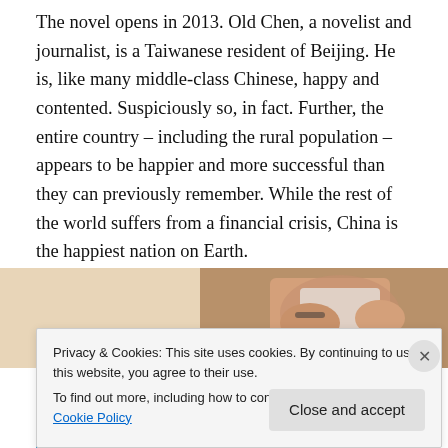The novel opens in 2013. Old Chen, a novelist and journalist, is a Taiwanese resident of Beijing. He is, like many middle-class Chinese, happy and contented. Suspiciously so, in fact. Further, the entire country – including the rural population – appears to be happier and more successful than they can previously remember. While the rest of the world suffers from a financial crisis, China is the happiest nation on Earth.
[Figure (photo): Partial photo showing hands holding a device, on a warm-toned background]
Privacy & Cookies: This site uses cookies. By continuing to use this website, you agree to their use.
To find out more, including how to control cookies, see here: Cookie Policy
Close and accept